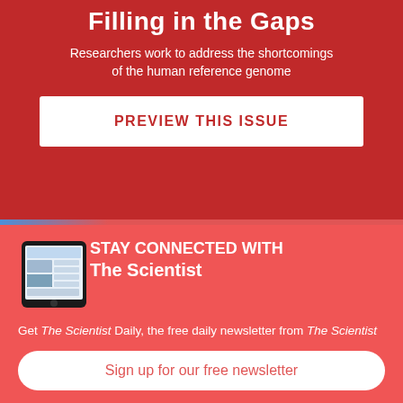Filling in the Gaps
Researchers work to address the shortcomings of the human reference genome
PREVIEW THIS ISSUE
STAY CONNECTED WITH The Scientist
Get The Scientist Daily, the free daily newsletter from The Scientist
Sign up for our free newsletter